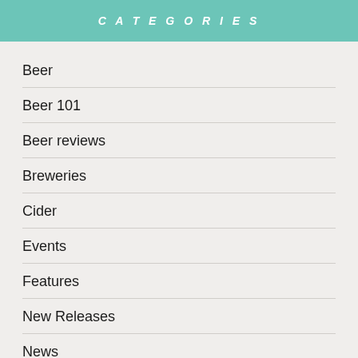CATEGORIES
Beer
Beer 101
Beer reviews
Breweries
Cider
Events
Features
New Releases
News